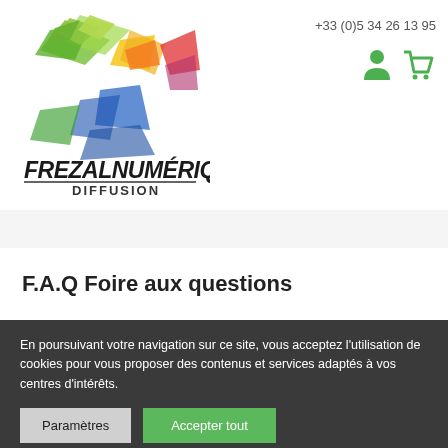[Figure (logo): Frezal Numérique Diffusion colorful logo with green, yellow, red, blue brush strokes and bold stylized text]
+33 (0)5 34 26 13 95
F.A.Q Foire aux questions
En poursuivant votre navigation sur ce site, vous acceptez l'utilisation de cookies pour vous proposer des contenus et services adaptés à vos centres d'intérêts.